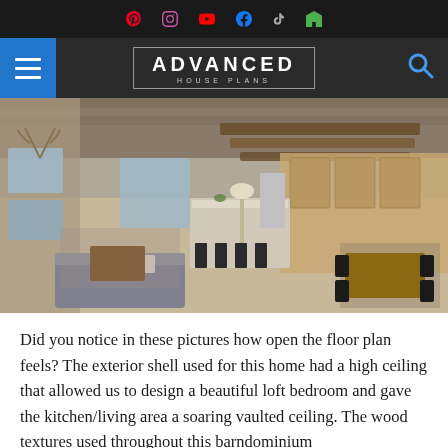Advanced House Plans — social navigation bar with Pinterest, Instagram, YouTube, Facebook, TikTok, Houzz icons
ADVANCED HOUSE PLANS
[Figure (photo): Aerial interior view of an open-concept barndominium floor plan showing a spacious living room with couches and coffee table, large kitchen island with bar stools, wood cabinetry, stainless steel appliances, dining area with wooden table and black chairs, exposed wooden ceiling beams and loft, large windows and sliding glass doors.]
Did you notice in these pictures how open the floor plan feels? The exterior shell used for this home had a high ceiling that allowed us to design a beautiful loft bedroom and gave the kitchen/living area a soaring vaulted ceiling. The wood textures used throughout this barndominium